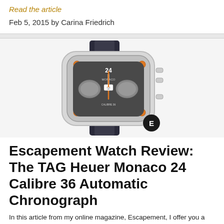Read the article
Feb 5, 2015 by Carina Friedrich
[Figure (photo): TAG Heuer Monaco 24 Calibre 36 Automatic Chronograph watch with dark dial, orange accents, square case, and black leather strap. An 'E' badge is visible in the lower right corner of the image.]
Escapement Watch Review: The TAG Heuer Monaco 24 Calibre 36 Automatic Chronograph
In this article from my online magazine, Escapement, I offer you a review of the TAG Heuer Monaco 24 Calibre 36 Automatic Chronograph, a chronograph watch with a proud auto racing history.